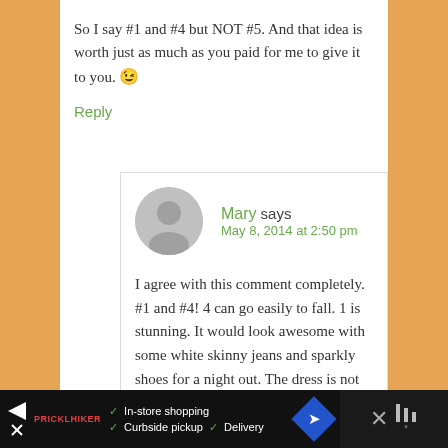So I say #1 and #4 but NOT #5. And that idea is worth just as much as you paid for me to give it to you. 😉
Reply
Mary says
May 8, 2014 at 2:50 pm
I agree with this comment completely. #1 and #4! 4 can go easily to fall. 1 is stunning. It would look awesome with some white skinny jeans and sparkly shoes for a night out. The dress is not well cut–too boxy–and too washed out. Fair damsels like you and
✓ In-store shopping  ✓ Curbside pickup  ✓ Delivery